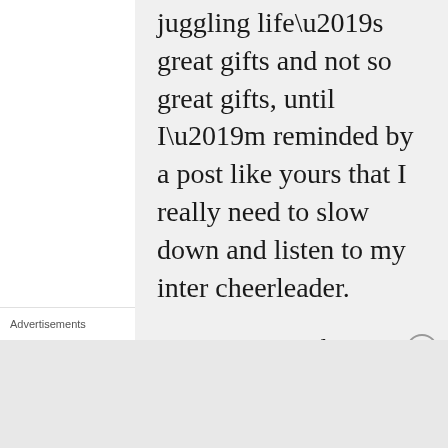juggling life’s great gifts and not so great gifts, until I’m reminded by a post like yours that I really need to slow down and listen to my inter cheerleader.

You were speaking about your Mother being your cheerleader, I want to be a cheerleader for my grandchildren. Some of the words from my youth,
Advertisements